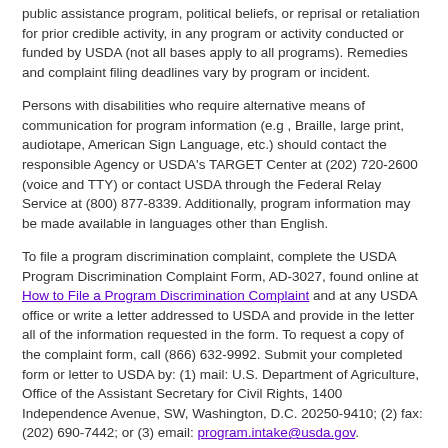public assistance program, political beliefs, or reprisal or retaliation for prior credible activity, in any program or activity conducted or funded by USDA (not all bases apply to all programs). Remedies and complaint filing deadlines vary by program or incident.
Persons with disabilities who require alternative means of communication for program information (e.g , Braille, large print, audiotape, American Sign Language, etc.) should contact the responsible Agency or USDA's TARGET Center at (202) 720-2600 (voice and TTY) or contact USDA through the Federal Relay Service at (800) 877-8339. Additionally, program information may be made available in languages other than English.
To file a program discrimination complaint, complete the USDA Program Discrimination Complaint Form, AD-3027, found online at How to File a Program Discrimination Complaint and at any USDA office or write a letter addressed to USDA and provide in the letter all of the information requested in the form. To request a copy of the complaint form, call (866) 632-9992. Submit your completed form or letter to USDA by: (1) mail: U.S. Department of Agriculture, Office of the Assistant Secretary for Civil Rights, 1400 Independence Avenue, SW, Washington, D.C. 20250-9410; (2) fax: (202) 690-7442; or (3) email: program.intake@usda.gov.